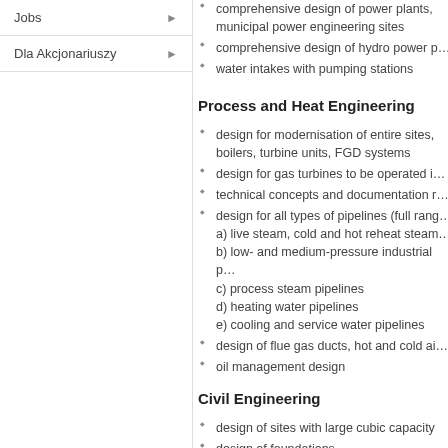Jobs
Dla Akcjonariuszy
comprehensive design of power plants, municipal power engineering sites
comprehensive design of hydro power p…
water intakes with pumping stations
Process and Heat Engineering
design for modernisation of entire sites, boilers, turbine units, FGD systems
design for gas turbines to be operated i…
technical concepts and documentation r…
design for all types of pipelines (full rang…)
a) live steam, cold and hot reheat steam…
b) low- and medium-pressure industrial p…
c) process steam pipelines
d) heating water pipelines
e) cooling and service water pipelines
design of flue gas ducts, hot and cold ai…
oil management design
Civil Engineering
design of sites with large cubic capacity
design of foundations
surface and underground engineering st…